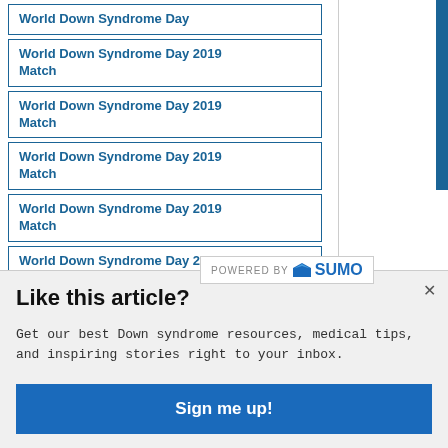World Down Syndrome Day
World Down Syndrome Day 2019 Match
World Down Syndrome Day 2019 Match
World Down Syndrome Day 2019 Match
World Down Syndrome Day 2019 Match
World Down Syndrome Day 2019 Match
World Down Syndro...
[Figure (logo): Powered by Sumo logo badge]
Like this article?
Get our best Down syndrome resources, medical tips, and inspiring stories right to your inbox.
Sign me up!